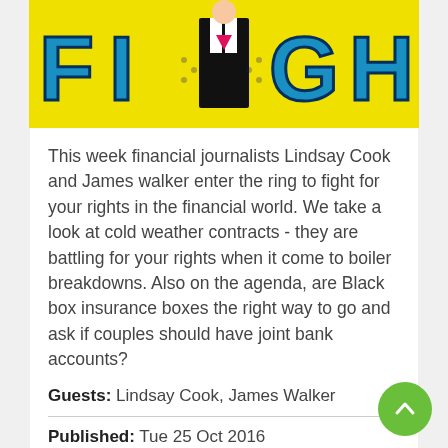[Figure (illustration): Colorful cartoon-style image with blue star-shaped letters on a yellow background, with a figure in a black tuxedo with pink tie in the center]
This week financial journalists Lindsay Cook and James walker enter the ring to fight for your rights in the financial world. We take a look at cold weather contracts - they are battling for your rights when it come to boiler breakdowns. Also on the agenda, are Black box insurance boxes the right way to go and ask if couples should have joint bank accounts?
Guests: Lindsay Cook, James Walker
Published: Tue 25 Oct 2016
Listen
Share Podcast